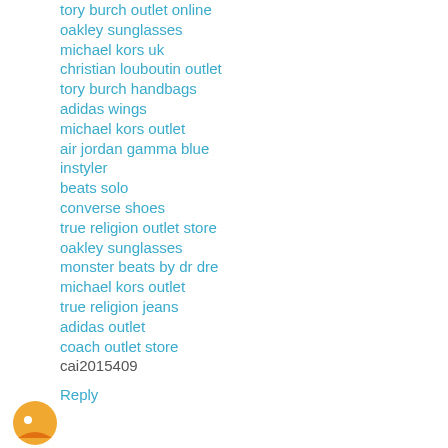tory burch outlet online
oakley sunglasses
michael kors uk
christian louboutin outlet
tory burch handbags
adidas wings
michael kors outlet
air jordan gamma blue
instyler
beats solo
converse shoes
true religion outlet store
oakley sunglasses
monster beats by dr dre
michael kors outlet
true religion jeans
adidas outlet
coach outlet store
cai2015409
Reply